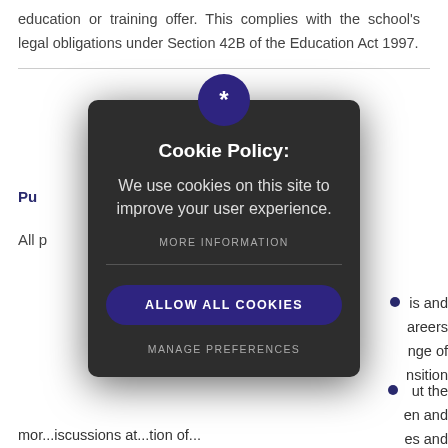education or training offer. This complies with the school's legal obligations under Section 42B of the Education Act 1997.
[Figure (screenshot): Cookie policy modal overlay on a dark background (#2d2d2d) with a dark purple asterisk icon at the top, title 'Cookie Policy:', body text 'We use cookies on this site to improve your user experience.', a 'MORE INFORMATION' link, a horizontal divider, an 'ALLOW ALL COOKIES' button in dark purple, and a 'MANAGE PREFERENCES' text link.]
Pu
All p
is and areers nge of nsition
ut the en and es and